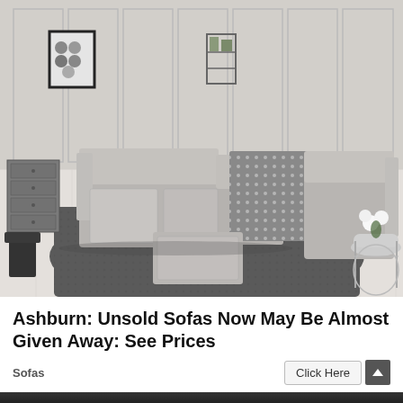[Figure (photo): A stylish living room showroom scene featuring a large light grey modular sectional sofa with a patterned accent chair (geometric/spotted fabric), a grey upholstered ottoman in the foreground, a dark grey fluffy area rug, white painted plank flooring, white wainscoting panel wall, a dark grey chest of drawers on the left, a black-framed art print on the wall, a wire grid wall shelf with plants in the background, and a round wire side table with white orchid flowers on the right.]
Ashburn: Unsold Sofas Now May Be Almost Given Away: See Prices
Sofas